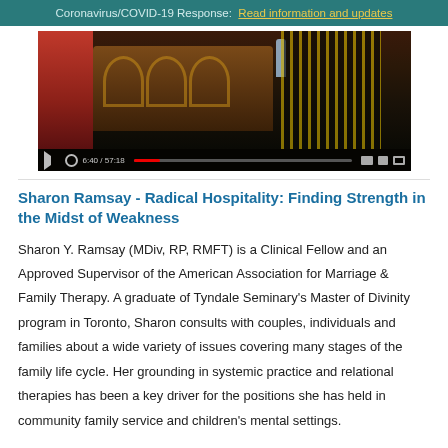Coronavirus/COVID-19 Response: Read information and updates
[Figure (screenshot): Video thumbnail showing a church interior with wooden pews and decorative elements, with a video player control bar at the bottom showing timestamp 6:40 / 57:18]
Sharon Ramsay - Radical Hospitality: Finding Strength in the Midst of Weakness
Sharon Y. Ramsay (MDiv, RP, RMFT) is a Clinical Fellow and an Approved Supervisor of the American Association for Marriage & Family Therapy. A graduate of Tyndale Seminary's Master of Divinity program in Toronto, Sharon consults with couples, individuals and families about a wide variety of issues covering many stages of the family life cycle. Her grounding in systemic practice and relational therapies has been a key driver for the positions she has held in community family service and children's mental settings.